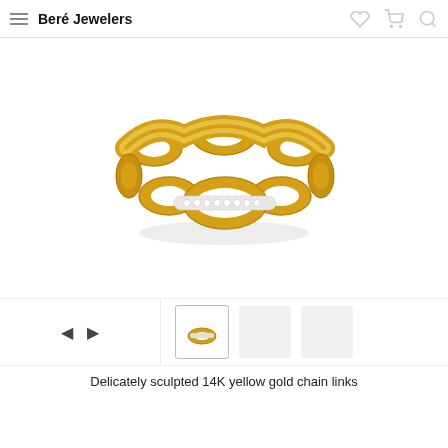Beré Jewelers
[Figure (photo): A 14K yellow gold chain link ring with diamond pavé set on one of the oval links, photographed from above on a white background.]
[Figure (photo): Thumbnail navigation bar with left/right arrows and small thumbnail image of the ring.]
Delicately sculpted 14K yellow gold chain links